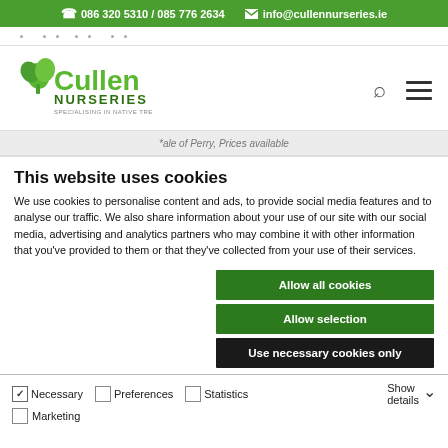☎ 086 320 5310 / 085 776 2634   ✉ info@cullennurseries.ie
[Figure (logo): Cullen Nurseries logo — green leaf icon with 'Cullen' in large green text and 'NURSERIES' below in darker green, with tagline text underneath. Search icon and hamburger menu on right.]
*ale of Perry, Prices available
This website uses cookies
We use cookies to personalise content and ads, to provide social media features and to analyse our traffic. We also share information about your use of our site with our social media, advertising and analytics partners who may combine it with other information that you've provided to them or that they've collected from your use of their services.
Allow all cookies
Allow selection
Use necessary cookies only
Necessary   Preferences   Statistics   Marketing   Show details